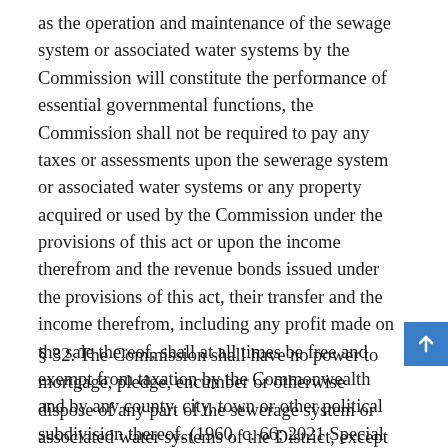as the operation and maintenance of the sewage system or associated water systems by the Commission will constitute the performance of essential governmental functions, the Commission shall not be required to pay any taxes or assessments upon the sewerage system or associated water systems or any property acquired or used by the Commission under the provisions of this act or upon the income therefrom and the revenue bonds issued under the provisions of this act, their transfer and the income therefrom, including any profit made on the sale thereof, shall at all times be free and exempt from taxation by the Commonwealth and by any county, city, town or other political subdivision thereof. (1960, c. 66; 2021 Special Session I, c. 428)
§ 32. The Commission shall have no power to mortgage, pledge, encumber or otherwise dispose of any part of the sewerage system or associated water systems of the District, except such part or parts thereof as may be no longer necessary or useful for the purposes of the